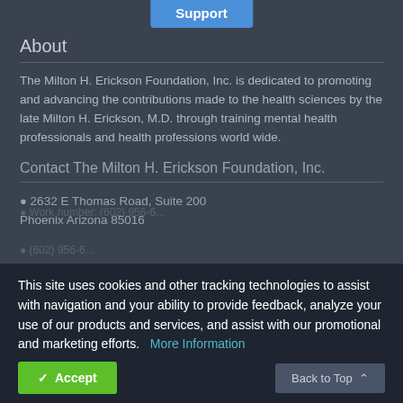Support
About
The Milton H. Erickson Foundation, Inc. is dedicated to promoting and advancing the contributions made to the health sciences by the late Milton H. Erickson, M.D. through training mental health professionals and health professions world wide.
Contact The Milton H. Erickson Foundation, Inc.
2632 E Thomas Road, Suite 200
Phoenix Arizona 85016
This site uses cookies and other tracking technologies to assist with navigation and your ability to provide feedback, analyze your use of our products and services, and assist with our promotional and marketing efforts.  More Information
Accept
Back to Top